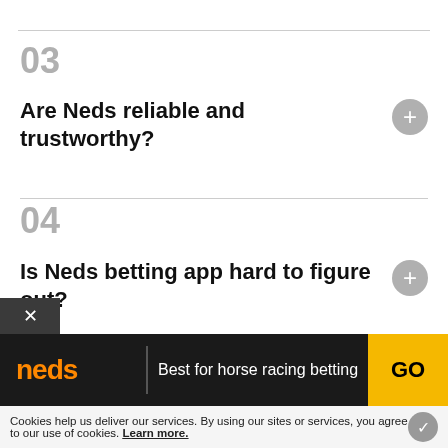03
Are Neds reliable and trustworthy?
04
Is Neds betting app hard to figure out?
05
Best for horse racing betting
Cookies help us deliver our services. By using our sites or services, you agree to our use of cookies. Learn more.